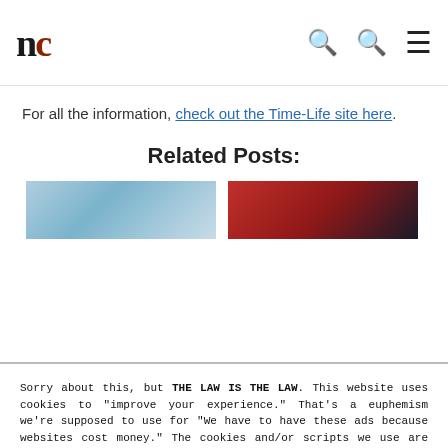nc — navigation header with search and menu icons
For all the information, check out the Time-Life site here.
Related Posts:
[Figure (photo): Two thumbnail images for related posts — left is a light blue/teal colored image, right is a dark red/black image]
Sorry about this, but THE LAW IS THE LAW. This website uses cookies to "improve your experience." That's a euphemism we're supposed to use for "We have to have these ads because websites cost money." The cookies and/or scripts we use are mostly from Google Analytics, AdSense, and YouTube. However we've instructed Google to anonymize any data that they collect. Just so you know. We'll assume you're ok with this, but you can opt-out if you wish. Just bear in mind, certain embeds and such might not work.<br /> <br /> Also, please be aware that when we link out to products, we may earn a commission for doing so. Because we're certainly not doing it for our health. See our privacy policy & terms of use for more info than you would ever want to know. - Privacy Policy & Terms of Use
Accept
Decline
Cookie Settings